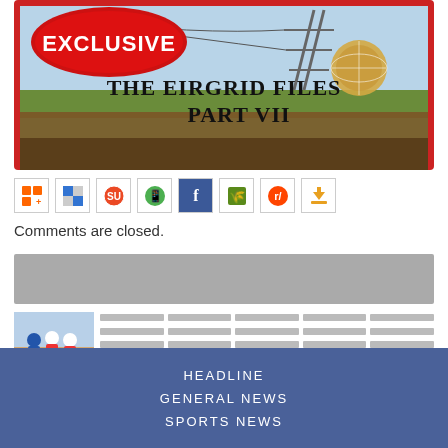[Figure (illustration): Banner image for 'The EirGrid Files Part VII' with EXCLUSIVE badge in red oval, power pylon in background, landscape with hedgerow. Red border around image.]
[Figure (infographic): Row of social sharing icons: Add This, Delicious, StumbleUpon, WhatsApp, Facebook, Netvibes, Reddit, Download]
Comments are closed.
[Figure (other): Grey advertisement placeholder block]
[Figure (other): Related articles block with thumbnail photo of people in red shirts and grey placeholder text lines]
HEADLINE
GENERAL NEWS
SPORTS NEWS